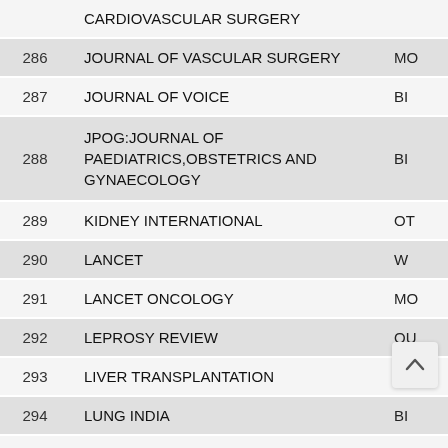| # | Journal Name | Frequency |
| --- | --- | --- |
|  | CARDIOVASCULAR SURGERY |  |
| 286 | JOURNAL OF VASCULAR SURGERY | MO |
| 287 | JOURNAL OF VOICE | BI |
| 288 | JPOG:JOURNAL OF PAEDIATRICS,OBSTETRICS AND GYNAECOLOGY | BI |
| 289 | KIDNEY INTERNATIONAL | OT |
| 290 | LANCET | W |
| 291 | LANCET ONCOLOGY | MO |
| 292 | LEPROSY REVIEW | QU |
| 293 | LIVER TRANSPLANTATION | MO |
| 294 | LUNG INDIA | BI |
| 295 | LUPUS | T |